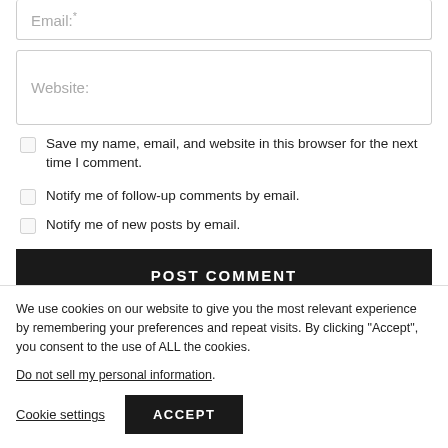Email:*
Website:
Save my name, email, and website in this browser for the next time I comment.
Notify me of follow-up comments by email.
Notify me of new posts by email.
POST COMMENT
We use cookies on our website to give you the most relevant experience by remembering your preferences and repeat visits. By clicking “Accept”, you consent to the use of ALL the cookies.
Do not sell my personal information.
Cookie settings
ACCEPT